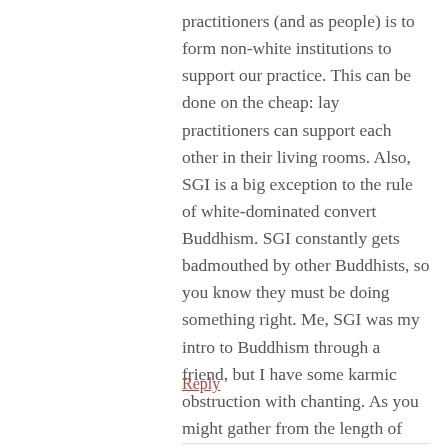practitioners (and as people) is to form non-white institutions to support our practice. This can be done on the cheap: lay practitioners can support each other in their living rooms. Also, SGI is a big exception to the rule of white-dominated convert Buddhism. SGI constantly gets badmouthed by other Buddhists, so you know they must be doing something right. Me, SGI was my intro to Buddhism through a friend, but I have some karmic obstruction with chanting. As you might gather from the length of this comment, sitting my fanny on a cushion silently is a far more radical act for me than moving my mouth.
Reply